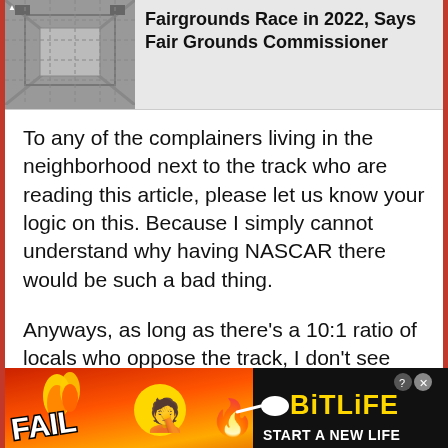[Figure (screenshot): Aerial photo thumbnail of a racetrack/fairgrounds]
Fairgrounds Race in 2022, Says Fair Grounds Commissioner
To any of the complainers living in the neighborhood next to the track who are reading this article, please let us know your logic on this. Because I simply cannot understand why having NASCAR there would be such a bad thing.
Anyways, as long as there’s a 10:1 ratio of locals who oppose the track, I don’t see racing there happening anytime soon. So NASCAR needs to find another short track.
[Figure (illustration): BitLife advertisement banner with FAIL badge, face-palm emoji, flame emoji, sperm icon, and START A NEW LIFE text on dark background]